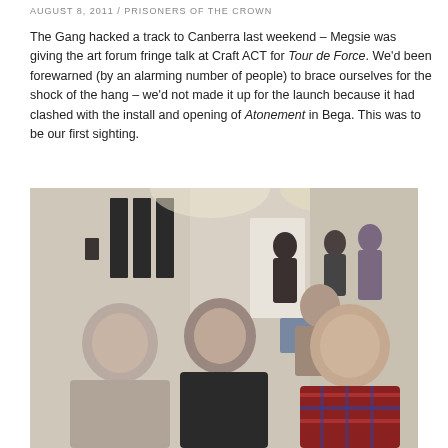AUGUST 8, 2011 / PRISONERS OF THE CROWN
The Gang hacked a track to Canberra last weekend – Megsie was giving the art forum fringe talk at Craft ACT for Tour de Force. We'd been forewarned (by an alarming number of people) to brace ourselves for the shock of the hang – we'd not made it up for the launch because it had clashed with the install and opening of Atonement in Bega. This was to be our first sighting.
[Figure (photo): Indoor art gallery scene with several people seated and standing. Three people are prominent in the foreground: a woman in a grey top on the left, a young woman in a black jacket in the middle smiling, and a young man in a plaid red shirt on the right. More people and artworks on walls are visible in the background.]